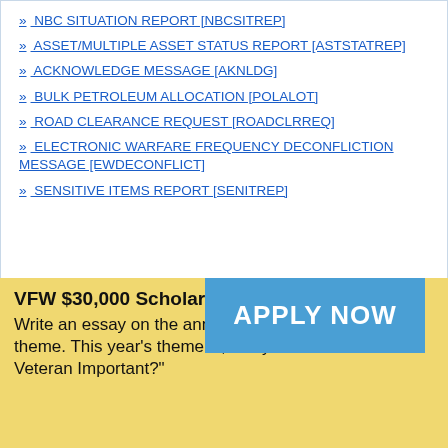» NBC SITUATION REPORT [NBCSITREP]
» ASSET/MULTIPLE ASSET STATUS REPORT [ASTSTATREP]
» ACKNOWLEDGE MESSAGE [AKNLDG]
» BULK PETROLEUM ALLOCATION [POLALOT]
» ROAD CLEARANCE REQUEST [ROADCLRREQ]
» ELECTRONIC WARFARE FREQUENCY DECONFLICTION MESSAGE [EWDECONFLICT]
» SENSITIVE ITEMS REPORT [SENITREP]
[Figure (infographic): VFW $30,000 Scholarship advertisement overlay. Yellow background with bold text: 'VFW $30,000 Scholarship! Write an essay on the annual patriotic theme. This year’s theme is, “Why Is The Veteran Important?”' with a blue 'APPLY NOW' button.]
» AMMUNITION FIRE UNIT DEPLOYMENT COMMAND
Available Subcategories :
| Report and Message Formats | Standard Operating Procedures |
From Our Benefits Blog...